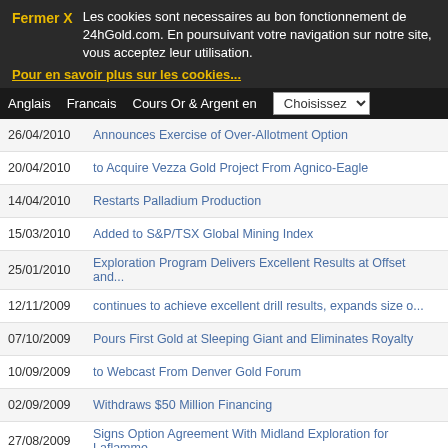Fermer X  Les cookies sont necessaires au bon fonctionnement de 24hGold.com. En poursuivant votre navigation sur notre site, vous acceptez leur utilisation.
Pour en savoir plus sur les cookies...
Anglais | Francais | Cours Or & Argent en | Choisissez
26/04/2010  Announces Exercise of Over-Allotment Option
20/04/2010  to Acquire Vezza Gold Project From Agnico-Eagle
14/04/2010  Restarts Palladium Production
15/03/2010  Added to S&P/TSX Global Mining Index
25/01/2010  Exploration Program Delivers Excellent Results at Offset and...
12/11/2009  continues to achieve excellent drill results, expands size o...
07/10/2009  Pours First Gold at Sleeping Giant and Eliminates Royalty
10/09/2009  to Webcast From Denver Gold Forum
02/09/2009  Withdraws $50 Million Financing
27/08/2009  Signs Option Agreement With Midland Exploration for Laflamme...
13/07/2009  Announces New CFO
15/09/2008  Announces New CEO
07/07/2008  Settles Crusher Litigation Collects Additional $14=2E5 Milli...
07/05/2008  Preliminary Economic Assessment Confirms Long Term Potential...
23/04/2008  Added to S&P/TSX Global Mining Index
17/01/2008  Increases Annual Production by 21%